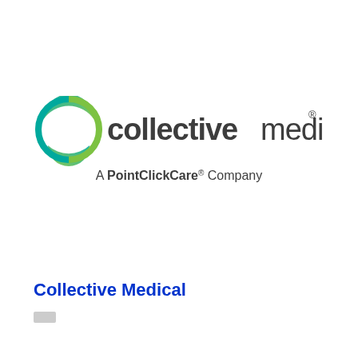[Figure (logo): Collective Medical logo with circular 'm' icon in teal and green gradient, followed by 'collectivemedical' in dark gray with 'collective' bold and 'medical' lighter weight, registered trademark symbol, and below 'A PointClickCare® Company' tagline]
Collective Medical